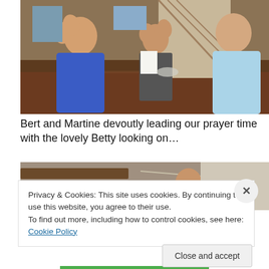[Figure (photo): Three people around a wooden dining table. Man on left in blue jacket with hands raised in prayer, another man in center also with hands raised, woman on right smiling, wearing light blue fleece. Staircase visible in background.]
Bert and Martine devoutly leading our prayer time with the lovely Betty looking on…
[Figure (photo): Partial view of a second photo showing a person visible between wooden beams or rafters, with rope or wire visible.]
Privacy & Cookies: This site uses cookies. By continuing to use this website, you agree to their use.
To find out more, including how to control cookies, see here: Cookie Policy
Close and accept